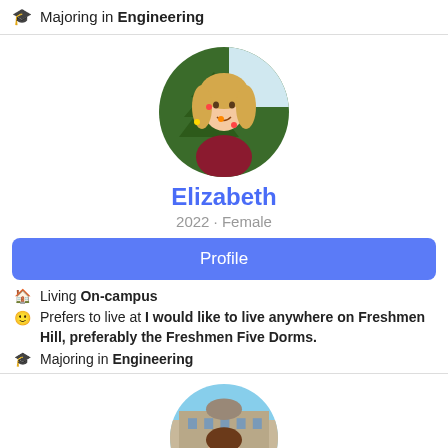Majoring in Engineering
[Figure (photo): Circular profile photo of Elizabeth, a young woman with blonde hair, standing in front of a Christmas tree, wearing a dark red top.]
Elizabeth
2022 · Female
Profile
Living On-campus
Prefers to live at I would like to live anywhere on Freshmen Hill, preferably the Freshmen Five Dorms.
Majoring in Engineering
[Figure (photo): Circular profile photo of a young woman smiling, with a historic European-style building in the background, wearing a blue top with a red backpack.]